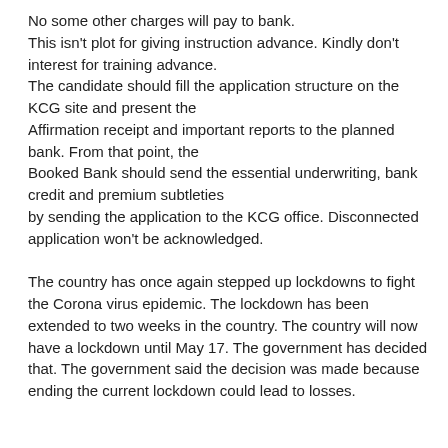No some other charges will pay to bank. This isn't plot for giving instruction advance. Kindly don't interest for training advance. The candidate should fill the application structure on the KCG site and present the Affirmation receipt and important reports to the planned bank. From that point, the Booked Bank should send the essential underwriting, bank credit and premium subtleties by sending the application to the KCG office. Disconnected application won't be acknowledged.
The country has once again stepped up lockdowns to fight the Corona virus epidemic. The lockdown has been extended to two weeks in the country. The country will now have a lockdown until May 17. The government has decided that. The government said the decision was made because ending the current lockdown could lead to losses.